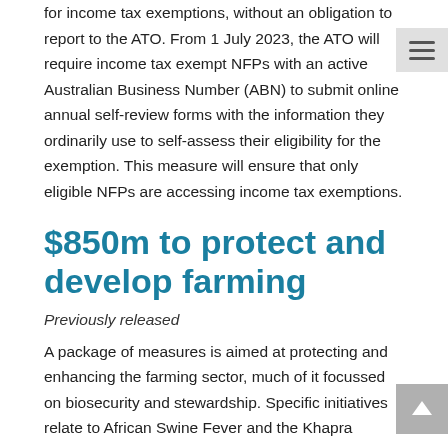for income tax exemptions, without an obligation to report to the ATO. From 1 July 2023, the ATO will require income tax exempt NFPs with an active Australian Business Number (ABN) to submit online annual self-review forms with the information they ordinarily use to self-assess their eligibility for the exemption. This measure will ensure that only eligible NFPs are accessing income tax exemptions.
$850m to protect and develop farming
Previously released
A package of measures is aimed at protecting and enhancing the farming sector, much of it focussed on biosecurity and stewardship. Specific initiatives relate to African Swine Fever and the Khapra Beetle, but much of the package is in the development of biosecurity directions, regulations...